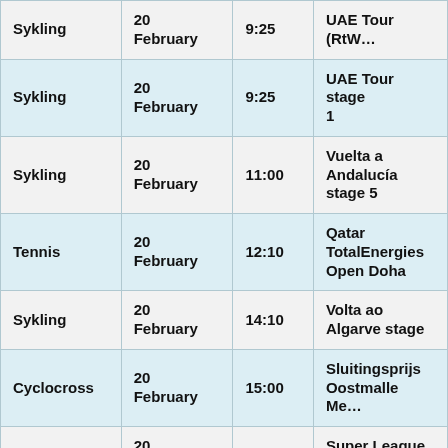| Sport | Date | Time | Event |
| --- | --- | --- | --- |
| Sykling | 20 February | 9:25 | UAE Tour (RtW… |
| Sykling | 20 February | 9:25 | UAE Tour stage 1 |
| Sykling | 20 February | 11:00 | Vuelta a Andalucía stage 5 |
| Tennis | 20 February | 12:10 | Qatar TotalEnergies Open Doha |
| Sykling | 20 February | 14:10 | Volta ao Algarve stage |
| Cyclocross | 20 February | 15:00 | Sluitingsprijs Oostmalle Me… |
| Football | 20 February | 15:00 | Super League (Teams) 22 |
| Football | 20 February | 16:15 | League Football (RtFT) 20-02 |
| Sykling | 21 February | 9:30 | UAE Tour stage 2 |
|  | 21 |  | Dubai Tenni… |